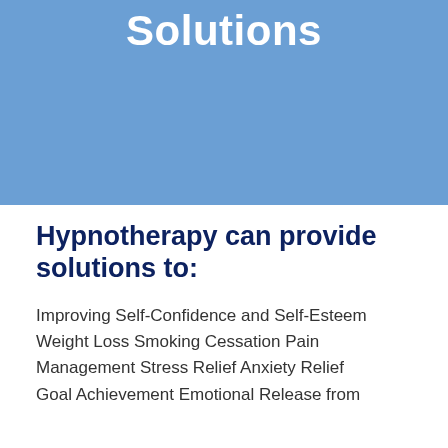Solutions
Hypnotherapy can provide solutions to:
Improving Self-Confidence and Self-Esteem
Weight Loss Smoking Cessation Pain Management Stress Relief Anxiety Relief
Goal Achievement Emotional Release from